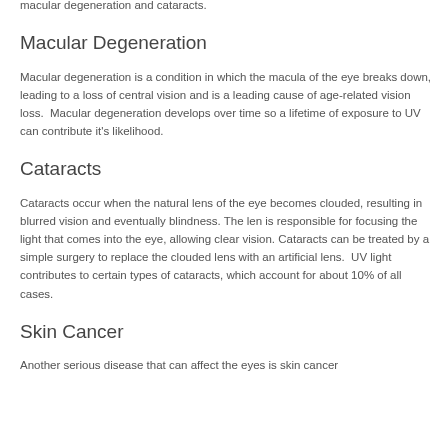UV exposure has been linked to a number of serious eye diseases including macular degeneration and cataracts.
Macular Degeneration
Macular degeneration is a condition in which the macula of the eye breaks down, leading to a loss of central vision and is a leading cause of age-related vision loss. Macular degeneration develops over time so a lifetime of exposure to UV can contribute it's likelihood.
Cataracts
Cataracts occur when the natural lens of the eye becomes clouded, resulting in blurred vision and eventually blindness. The len is responsible for focusing the light that comes into the eye, allowing clear vision. Cataracts can be treated by a simple surgery to replace the clouded lens with an artificial lens. UV light contributes to certain types of cataracts, which account for about 10% of all cases.
Skin Cancer
Another serious disease that can affect the eyes is skin cancer